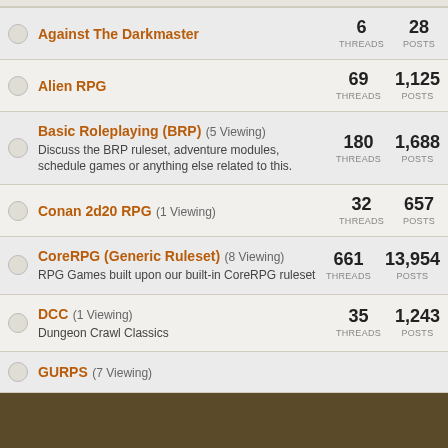Against The Darkmaster — 6 THREADS 28 POSTS
Alien RPG — 69 THREADS 1,125 POSTS
Basic Roleplaying (BRP) (5 Viewing) — Discuss the BRP ruleset, adventure modules, schedule games or anything else related to this. — 180 THREADS 1,688 POSTS
Conan 2d20 RPG (1 Viewing) — 32 THREADS 657 POSTS
CoreRPG (Generic Ruleset) (8 Viewing) — RPG Games built upon our built-in CoreRPG ruleset — 661 THREADS 13,954 POSTS
DCC (1 Viewing) — Dungeon Crawl Classics — 35 THREADS 1,243 POSTS
GURPS (7 Viewing)